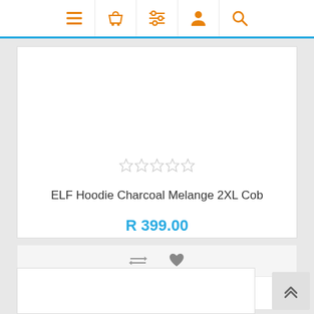[Figure (screenshot): Navigation bar with orange icons: hamburger menu, shopping basket, list/filter, user profile, search]
[Figure (screenshot): 5 empty star rating icons in light gray]
ELF Hoodie Charcoal Melange 2XL Cob
R 399.00
[Figure (screenshot): Compare icon (two horizontal arrows) and heart/wishlist icon]
ADD TO CART